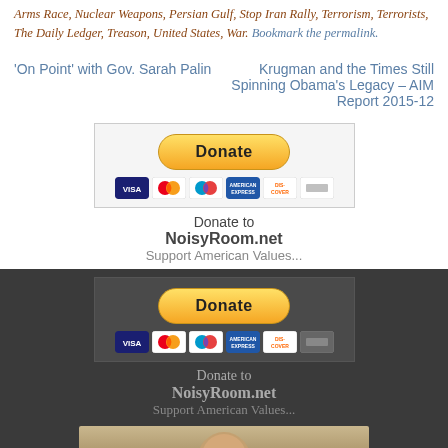Arms Race, Nuclear Weapons, Persian Gulf, Stop Iran Rally, Terrorism, Terrorists, The Daily Ledger, Treason, United States, War. Bookmark the permalink.
'On Point' with Gov. Sarah Palin
Krugman and the Times Still Spinning Obama's Legacy – AIM Report 2015-12
[Figure (infographic): PayPal Donate button with Visa, Mastercard, American Express, Discover card icons. Below: Donate to NoisyRoom.net Support American Values...]
[Figure (infographic): Second PayPal Donate button with Visa, Mastercard, American Express, Discover card icons on dark background. Below: Donate to NoisyRoom.net Support American Values...]
[Figure (photo): Partial photo of a person's head/face at the bottom of the page]